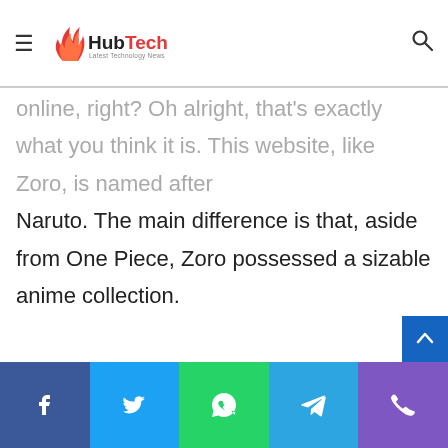HubTech – Latest Technology News
online, right? Oh alright, that's exactly what you think it is. This website, like Zoro, is named after Naruto. The main difference is that, aside from One Piece, Zoro possessed a sizable anime collection.

In the case of Naruget, however, there is just one anime available. And you can guess which anime it is!

Yes, Naruto! That is correct, ladies and gentlemen! This is the website for you if you just want to see things from the Naruto franchise, whether it's a movie, filler, or
Facebook | Twitter | WhatsApp | Telegram | Phone